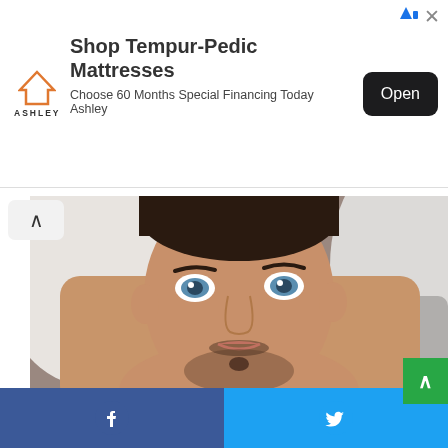[Figure (screenshot): Advertisement banner for Ashley furniture showing Tempur-Pedic Mattresses with 'Open' button]
[Figure (photo): Young man with blue eyes, stubble beard, lying shirtless on white pillows, selfie-style photo]
[Figure (screenshot): Share bar at bottom with Facebook and Twitter share buttons]